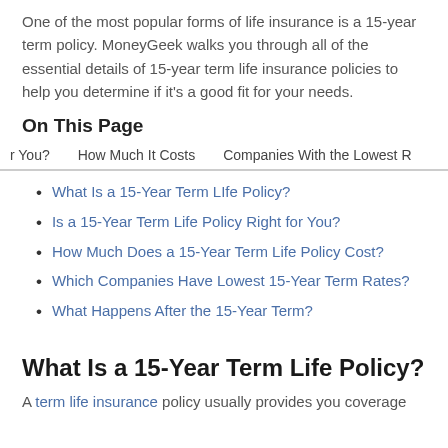One of the most popular forms of life insurance is a 15-year term policy. MoneyGeek walks you through all of the essential details of 15-year term life insurance policies to help you determine if it's a good fit for your needs.
On This Page
r You?   How Much It Costs   Companies With the Lowest R
What Is a 15-Year Term LIfe Policy?
Is a 15-Year Term Life Policy Right for You?
How Much Does a 15-Year Term Life Policy Cost?
Which Companies Have Lowest 15-Year Term Rates?
What Happens After the 15-Year Term?
What Is a 15-Year Term Life Policy?
A term life insurance policy usually provides you coverage